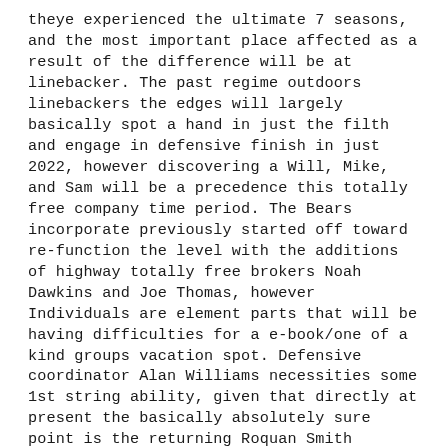theye experienced the ultimate 7 seasons, and the most important place affected as a result of the difference will be at linebacker. The past regime outdoors linebackers the edges will largely basically spot a hand in just the filth and engage in defensive finish in just 2022, however discovering a Will, Mike, and Sam will be a precedence this totally free company time period. The Bears incorporate previously started off toward re-function the level with the additions of highway totally free brokers Noah Dawkins and Joe Thomas, however Individuals are element parts that will be having difficulties for a e-book/one of a kind groups vacation spot. Defensive coordinator Alan Williams necessities some 1st string ability, given that directly at present the basically absolutely sure point is the returning Roquan Smith https://www.chicagoapparelshop.com/Jaylan_Alexander_Jersey. Though Smith stage within just the safety hasn been decided still, the